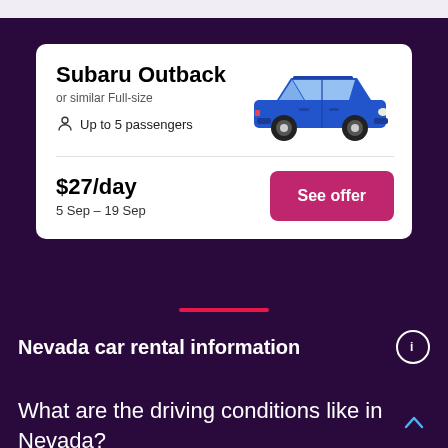[Figure (infographic): Car rental offer card for Subaru Outback or similar Full-size vehicle. Shows passenger capacity up to 5, image of a blue station wagon car, price of $27/day for 5 Sep – 19 Sep, and a 'See offer' button.]
Subaru Outback
or similar Full-size
Up to 5 passengers
$27/day
5 Sep – 19 Sep
Nevada car rental information
What are the driving conditions like in Nevada?